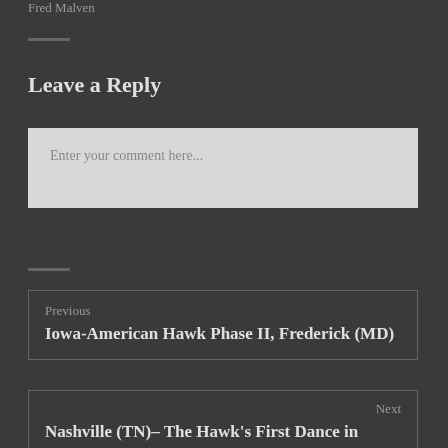Fred Malven
Leave a Reply
Enter your comment here...
Previous
Iowa-American Hawk Phase II, Frederick (MD)
Next
Nashville (TN)– The Hawk's First Dance in